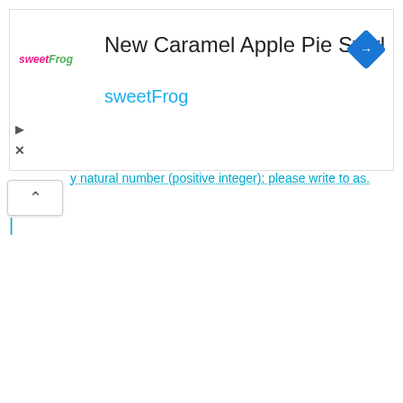[Figure (screenshot): Advertisement banner for sweetFrog showing 'New Caramel Apple Pie Swirl' with sweetFrog logo, navigation icon, play and close buttons]
y natural number (positive integer); please write to as.
[Figure (other): Collapse/chevron-up button UI element]
|